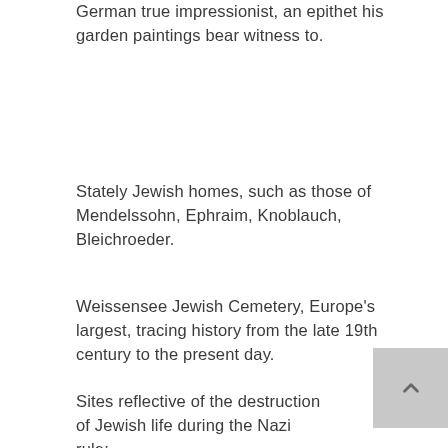German true impressionist, an epithet his garden paintings bear witness to.
Stately Jewish homes, such as those of Mendelssohn, Ephraim, Knoblauch, Bleichroeder.
Weissensee Jewish Cemetery, Europe's largest, tracing history from the late 19th century to the present day.
Sites reflective of the destruction of Jewish life during the Nazi rule: